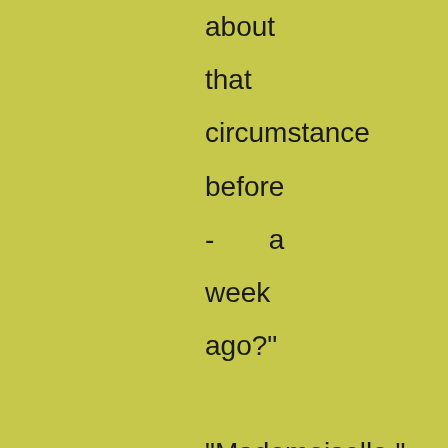about that circumstance before - a week ago? "Mademoiselle," I continued, "you would greatly oblige me by directing me to that